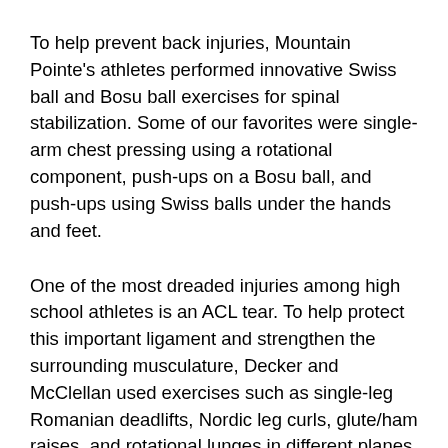To help prevent back injuries, Mountain Pointe's athletes performed innovative Swiss ball and Bosu ball exercises for spinal stabilization. Some of our favorites were single-arm chest pressing using a rotational component, push-ups on a Bosu ball, and push-ups using Swiss balls under the hands and feet.
One of the most dreaded injuries among high school athletes is an ACL tear. To help protect this important ligament and strengthen the surrounding musculature, Decker and McClellan used exercises such as single-leg Romanian deadlifts, Nordic leg curls, glute/ham raises, and rotational lunges in different planes. For hip mobility and balance development, the athletes did rotational touches using 10-pound weights and RDLs on an unstable surface, such as a Dyna Disc or an Airex pad. To teach landing in an athletic and ACL-safe position